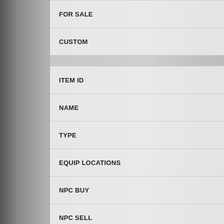| Field | Value |
| --- | --- |
| FOR SALE | No |
| CUSTOM | No |
| ITEM ID | 505 |
| NAME | Blue Potion |
| TYPE | Healing |
| EQUIP LOCATIONS | None |
| NPC BUY | 5,000 |
| NPC SELL | 2,500 |
| WEIGHT | 15 |
| ATTACK | 0 |
| MATK | 0 |
| DEFENSE | 0 |
| RANGE | 0 |
| SLOTS | 0 |
| REFINEABLE | No |